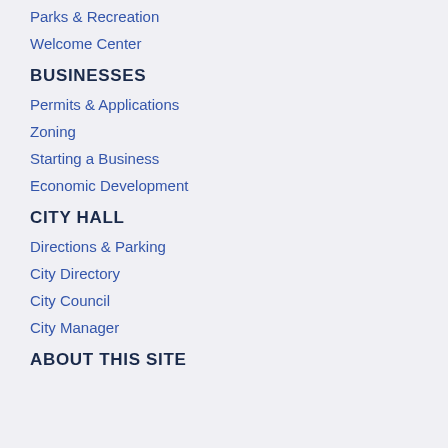Parks & Recreation
Welcome Center
BUSINESSES
Permits & Applications
Zoning
Starting a Business
Economic Development
CITY HALL
Directions & Parking
City Directory
City Council
City Manager
ABOUT THIS SITE